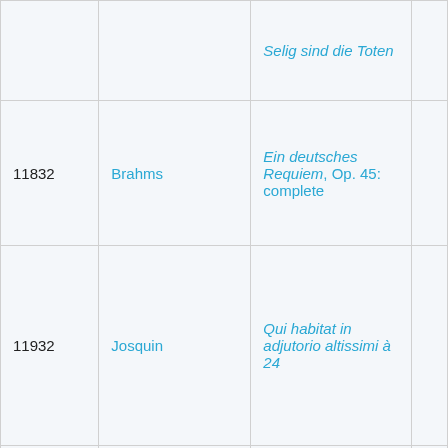|  |  | Selig sind die Toten |  |
| 11832 | Brahms | Ein deutsches Requiem, Op. 45: complete |  |
| 11932 | Josquin | Qui habitat in adjutorio altissimi à 24 |  |
| 12709 | Carver | O bone Jesu à 19 |  |